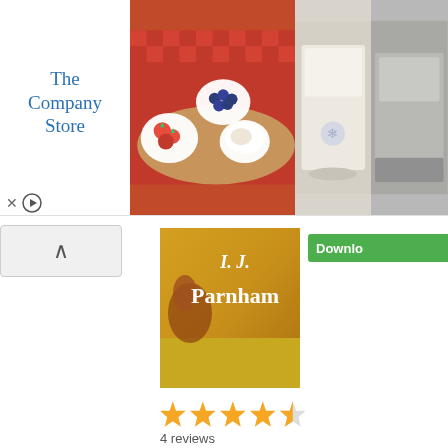[Figure (screenshot): Advertisement banner for The Company Store showing food spread with strawberries and granola, and bedding products]
[Figure (screenshot): Book cover for I.J. Parnham western novel with golden wheat field background]
[Figure (other): Download button (green) partially visible on right edge]
4 reviews
[Figure (other): Pin it button]
[Figure (screenshot): Book cover for The Wonderful Wizard of Oz by Lyman Frank Baum, showing a hot air balloon over an Oz landscape]
The Wo...
by L. Frank...
...
Genre: Fic... Size: 148 p... Free eBoo...
[Figure (other): Download button (green) partially visible]